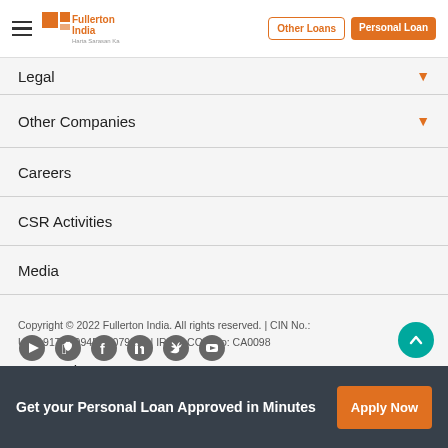[Figure (logo): Fullerton India logo with hamburger menu icon on the left. Header also contains 'Other Loans' outline button and 'Personal Loan' filled orange button on the right.]
Legal
Other Companies
Careers
CSR Activities
Media
Sitemap
Personal Loan App
Copyright © 2022 Fullerton India. All rights reserved. | CIN No.: U65191TN1994PLC079235 | IRDAI COR No: CA0098
[Figure (illustration): Social media icons: Google Play, Apple App Store, Facebook, LinkedIn, Twitter, YouTube]
Get your Personal Loan Approved in Minutes
Apply Now